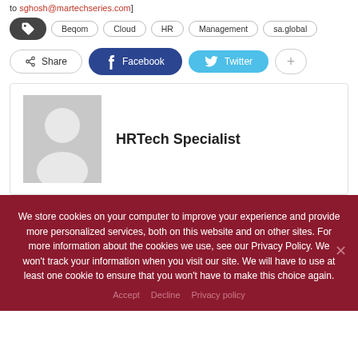to sghosh@martechseries.com
Beqom  Cloud  HR  Management  sa.global
Share  Facebook  Twitter  +
HRTech Specialist
We store cookies on your computer to improve your experience and provide more personalized services, both on this website and on other sites. For more information about the cookies we use, see our Privacy Policy. We won't track your information when you visit our site. We will have to use at least one cookie to ensure that you won't have to make this choice again.
Accept  Decline  Privacy policy